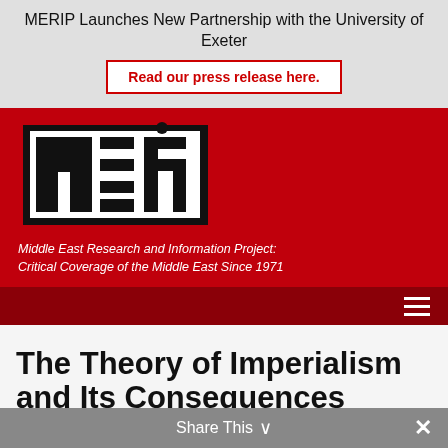MERIP Launches New Partnership with the University of Exeter
Read our press release here.
[Figure (logo): MERIP logo — stylized letters M E R I P in black and white block style on red background]
Middle East Research and Information Project: Critical Coverage of the Middle East Since 1971
The Theory of Imperialism and Its Consequences
Share This